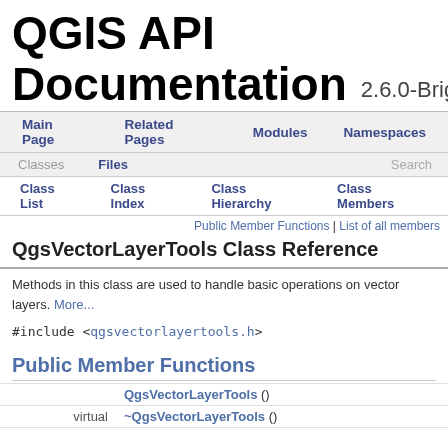QGIS API Documentation 2.6.0-Brighton
Main Page | Related Pages | Modules | Namespaces
Classes | Files | Search
Class List | Class Index | Class Hierarchy | Class Members
Public Member Functions | List of all members
QgsVectorLayerTools Class Reference
Methods in this class are used to handle basic operations on vector layers. More...
#include <qgsvectorlayertools.h>
Public Member Functions
|  |  |
| --- | --- |
| QgsVectorLayerTools () |  |
| virtual | ~QgsVectorLayerTools () |